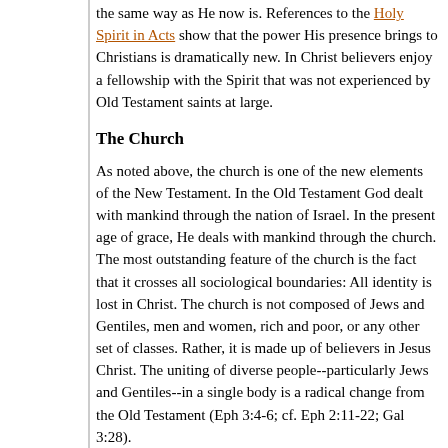the same way as He now is. References to the Holy Spirit in Acts show that the power His presence brings to Christians is dramatically new. In Christ believers enjoy a fellowship with the Spirit that was not experienced by Old Testament saints at large.
The Church
As noted above, the church is one of the new elements of the New Testament. In the Old Testament God dealt with mankind through the nation of Israel. In the present age of grace, He deals with mankind through the church. The most outstanding feature of the church is the fact that it crosses all sociological boundaries: All identity is lost in Christ. The church is not composed of Jews and Gentiles, men and women, rich and poor, or any other set of classes. Rather, it is made up of believers in Jesus Christ. The uniting of diverse people--particularly Jews and Gentiles--in a single body is a radical change from the Old Testament (Eph 3:4-6; cf. Eph 2:11-22; Gal 3:28).
A Look into the Future